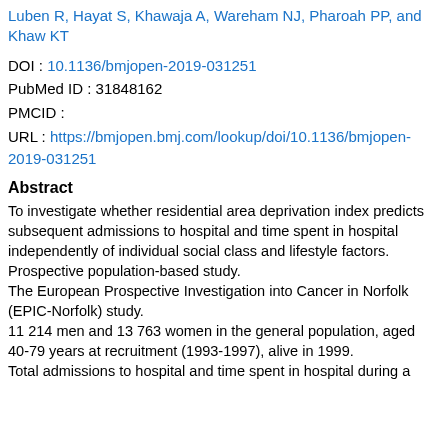Luben R, Hayat S, Khawaja A, Wareham NJ, Pharoah PP, and Khaw KT
DOI : 10.1136/bmjopen-2019-031251
PubMed ID : 31848162
PMCID :
URL : https://bmjopen.bmj.com/lookup/doi/10.1136/bmjopen-2019-031251
Abstract
To investigate whether residential area deprivation index predicts subsequent admissions to hospital and time spent in hospital independently of individual social class and lifestyle factors.
Prospective population-based study.
The European Prospective Investigation into Cancer in Norfolk (EPIC-Norfolk) study.
11 214 men and 13 763 women in the general population, aged 40-79 years at recruitment (1993-1997), alive in 1999.
Total admissions to hospital and time spent in hospital during a